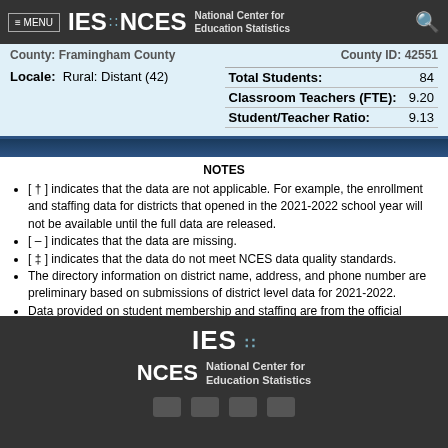≡ MENU  IES  NCES  National Center for Education Statistics
County: Framingham County   County ID: 42551
Locale: Rural: Distant (42)
|  |  |
| --- | --- |
| Total Students: | 84 |
| Classroom Teachers (FTE): | 9.20 |
| Student/Teacher Ratio: | 9.13 |
NOTES
[ † ] indicates that the data are not applicable. For example, the enrollment and staffing data for districts that opened in the 2021-2022 school year will not be available until the full data are released.
[ – ] indicates that the data are missing.
[ ‡ ] indicates that the data do not meet NCES data quality standards.
The directory information on district name, address, and phone number are preliminary based on submissions of district level data for 2021-2022.
Data provided on student membership and staffing are from the official district leve
Source: CCD Public school district data for the 2020-2021, 2021-2022
IES  NCES  National Center for Education Statistics